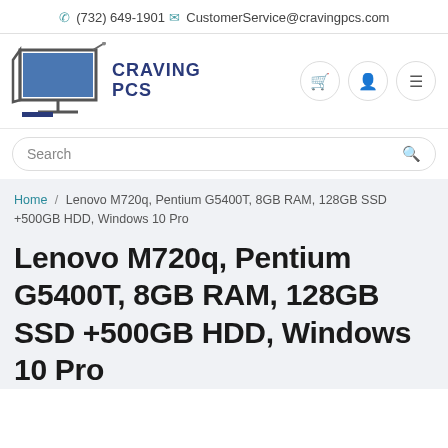(732) 649-1901  CustomerService@cravingpcs.com
[Figure (logo): Craving PCs logo with monitor icon and stylized text reading CRAVING PCS]
Search
Home / Lenovo M720q, Pentium G5400T, 8GB RAM, 128GB SSD +500GB HDD, Windows 10 Pro
Lenovo M720q, Pentium G5400T, 8GB RAM, 128GB SSD +500GB HDD, Windows 10 Pro